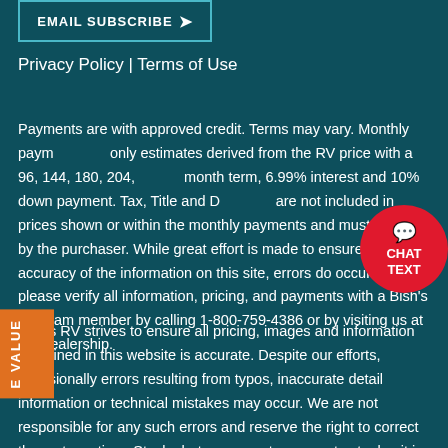[Figure (other): EMAIL SUBSCRIBE button with arrow, teal border on dark teal background]
Privacy Policy | Terms of Use
Payments are with approved credit. Terms may vary. Monthly payments are only estimates derived from the RV price with a 96, 144, 180, 204, or 240 month term, 6.99% interest and 10% down payment. Tax, Title and Doc Fees are not included in prices shown or within the monthly payments and must be paid by the purchaser. While great effort is made to ensure the accuracy of the information on this site, errors do occur so please verify all information, pricing, and payments with a Bish's RV team member by calling 1-800-759-4386 or by visiting us at the dealership.
[Figure (other): Red circular chat button with speech bubble icon and text CHAT TEXT]
Bish's RV strives to ensure all pricing, images and information contained in this website is accurate. Despite our efforts, occasionally errors resulting from typos, inaccurate detail information or technical mistakes may occur. We are not responsible for any such errors and reserve the right to correct them at any time. Stock photos may not represent actual unit in stock. See
[Figure (other): Orange vertical side tab with text E VALUE]